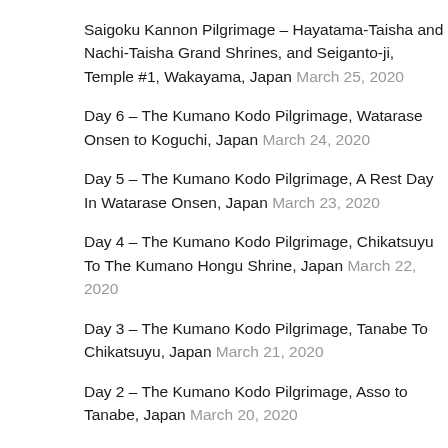Saigoku Kannon Pilgrimage – Hayatama-Taisha and Nachi-Taisha Grand Shrines, and Seiganto-ji, Temple #1, Wakayama, Japan March 25, 2020
Day 6 – The Kumano Kodo Pilgrimage, Watarase Onsen to Koguchi, Japan March 24, 2020
Day 5 – The Kumano Kodo Pilgrimage, A Rest Day In Watarase Onsen, Japan March 23, 2020
Day 4 – The Kumano Kodo Pilgrimage, Chikatsuyu To The Kumano Hongu Shrine, Japan March 22, 2020
Day 3 – The Kumano Kodo Pilgrimage, Tanabe To Chikatsuyu, Japan March 21, 2020
Day 2 – The Kumano Kodo Pilgrimage, Asso to Tanabe, Japan March 20, 2020
Day 1 – Kumano Kodo Pilgrimage, Shirahama to Asso,